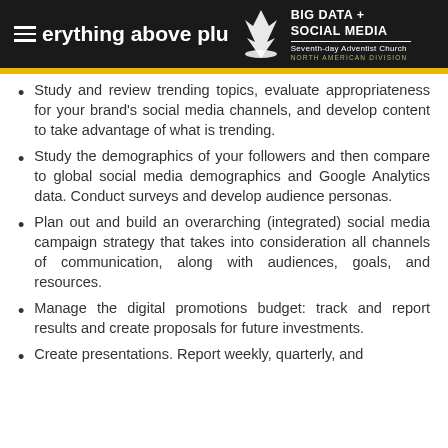BIG DATA + SOCIAL MEDIA — Seventh-day Adventist Church North American Division
Study and review trending topics, evaluate appropriateness for your brand's social media channels, and develop content to take advantage of what is trending.
Study the demographics of your followers and then compare to global social media demographics and Google Analytics data. Conduct surveys and develop audience personas.
Plan out and build an overarching (integrated) social media campaign strategy that takes into consideration all channels of communication, along with audiences, goals, and resources.
Manage the digital promotions budget: track and report results and create proposals for future investments.
Create presentations. Report weekly, quarterly, and...